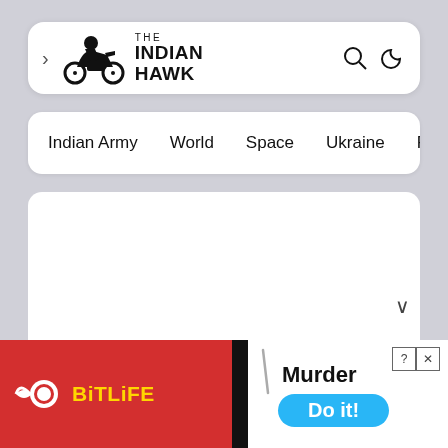THE INDIAN HAWK
Indian Army  World  Space  Ukraine  Russia  NATO  Ch
[Figure (screenshot): White content area of The Indian Hawk website, mostly blank]
[Figure (infographic): BitLife advertisement banner: red background with BitLife logo on left, white section with 'Murder' text and 'Do it!' blue button on right, close buttons top right]